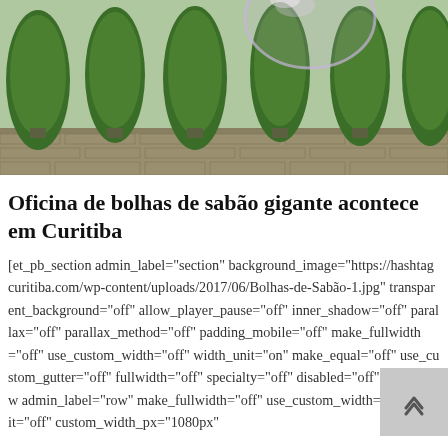[Figure (photo): Outdoor photo showing large soap bubbles floating in the air in front of tall green topiary trees and a stone wall background.]
Oficina de bolhas de sabão gigante acontece em Curitiba
[et_pb_section admin_label="section" background_image="https://hashtagcuritiba.com/wp-content/uploads/2017/06/Bolhas-de-Sabão-1.jpg" transparent_background="off" allow_player_pause="off" inner_shadow="off" parallax="off" parallax_method="off" padding_mobile="off" make_fullwidth="off" use_custom_width="off" width_unit="on" make_equal="off" use_custom_gutter="off" fullwidth="off" specialty="off" disabled="off"][et_pb_row admin_label="row" make_fullwidth="off" use_custom_width= width_unit="off" custom_width_px="1080px"